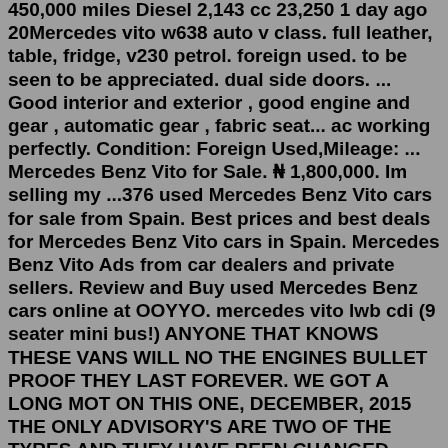450,000 miles Diesel 2,143 cc 23,250 1 day ago 20Mercedes vito w638 auto v class. full leather, table, fridge, v230 petrol. foreign used. to be seen to be appreciated. dual side doors. ... Good interior and exterior , good engine and gear , automatic gear , fabric seat... ac working perfectly. Condition: Foreign Used,Mileage: ... Mercedes Benz Vito for Sale. ₦ 1,800,000. Im selling my ...376 used Mercedes Benz Vito cars for sale from Spain. Best prices and best deals for Mercedes Benz Vito cars in Spain. Mercedes Benz Vito Ads from car dealers and private sellers. Review and Buy used Mercedes Benz cars online at OOYYO. mercedes vito lwb cdi (9 seater mini bus!) ANYONE THAT KNOWS THESE VANS WILL NO THE ENGINES BULLET PROOF THEY LAST FOREVER. WE GOT A LONG MOT ON THIS ONE, DECEMBER, 2015 THE ONLY ADVISORY'S ARE TWO OF THE TYRES AND THEY HAVE BEEN CHANGED. Martin Atkinson Specialist Vans are delighted to offer this 2019 Vito Tourer Select XLWB 9 Seater Auto. Presented in Deep Black and